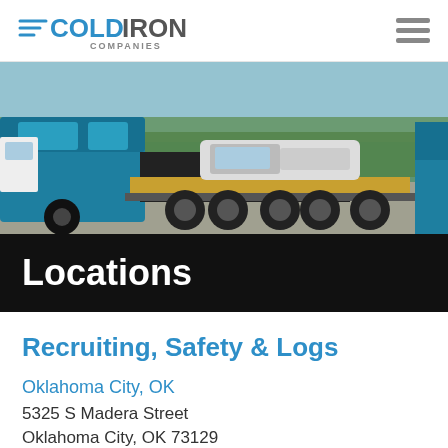[Figure (logo): Cold Iron Companies logo with blue text and speed-line graphic]
[Figure (photo): A blue semi-truck hauling a white pickup truck on a flatbed trailer, parked in a lot with trees in background]
Locations
Recruiting, Safety & Logs
Oklahoma City, OK
5325 S Madera Street
Oklahoma City, OK 73129